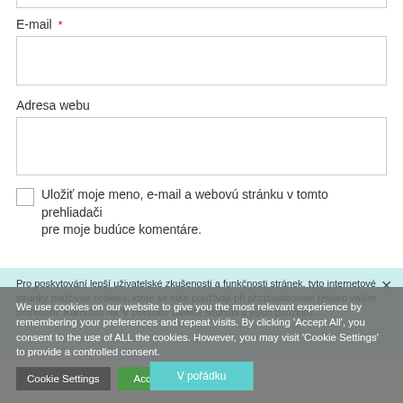E-mail *
Adresa webu
Uložiť moje meno, e-mail a webovú stránku v tomto prehliadači pre moje budúce komentáre.
We use cookies on our website to give you the most relevant experience by remembering your preferences and repeat visits. By clicking 'Accept All', you consent to the use of ALL the cookies. However, you may visit 'Cookie Settings' to provide a controlled consent.
Pro poskytování lepší uživatelské zkušenosti a funkčnosti stránek, tyto internetové stránky používají cookies, které se také používají při přizpůsobování reklam vašim potřebám. Kliknutím na 'V pořádku' dáváte souhlas s jejich použitím.